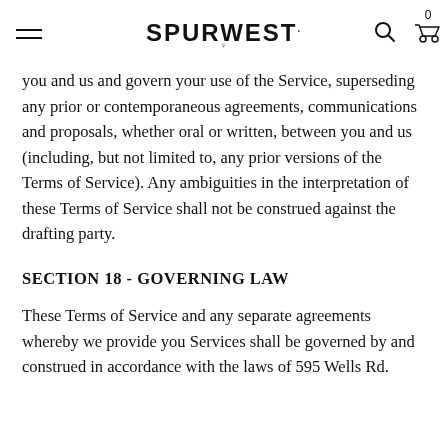SPURWEST
you and us and govern your use of the Service, superseding any prior or contemporaneous agreements, communications and proposals, whether oral or written, between you and us (including, but not limited to, any prior versions of the Terms of Service). Any ambiguities in the interpretation of these Terms of Service shall not be construed against the drafting party.
SECTION 18 - GOVERNING LAW
These Terms of Service and any separate agreements whereby we provide you Services shall be governed by and construed in accordance with the laws of 595 Wells Rd.